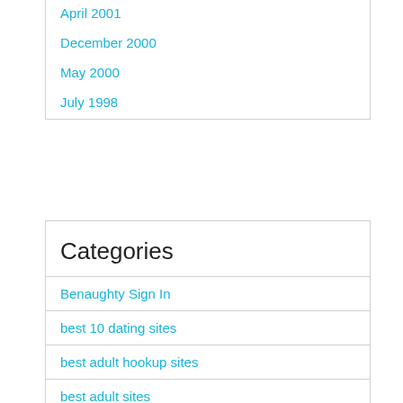April 2001
December 2000
May 2000
July 1998
Categories
Benaughty Sign In
best 10 dating sites
best adult hookup sites
best adult sites